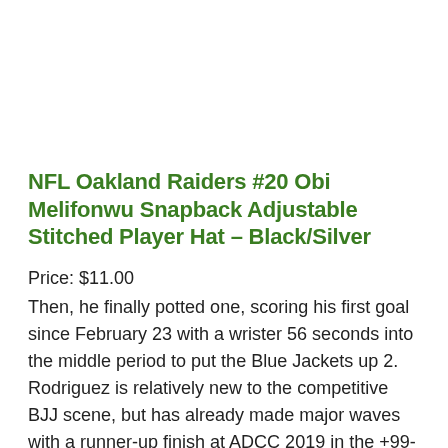NFL Oakland Raiders #20 Obi Melifonwu Snapback Adjustable Stitched Player Hat – Black/Silver
Price: $11.00
Then, he finally potted one, scoring his first goal since February 23 with a wrister 56 seconds into the middle period to put the Blue Jackets up 2. Rodriguez is relatively new to the competitive BJJ scene, but has already made major waves with a runner-up finish at ADCC 2019 in the +99-kilogram division. On Monday, The Athletic's Shams Charania reported that the Jazz will have to...